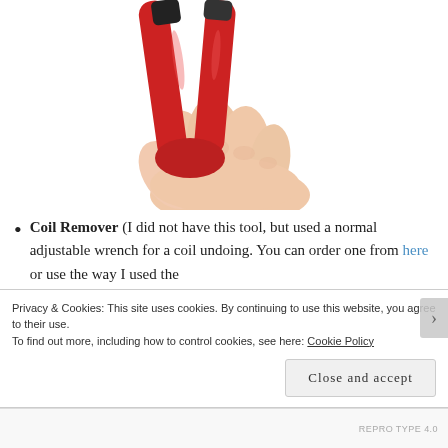[Figure (photo): A hand gripping a red coil remover tool with black tips, held against a white background. The tool has two red handles joined at the grip.]
Coil Remover (I did not have this tool, but used a normal adjustable wrench for a coil undoing. You can order one from here or use the way I used the wrench to pull it out.
Privacy & Cookies: This site uses cookies. By continuing to use this website, you agree to their use.
To find out more, including how to control cookies, see here: Cookie Policy
Close and accept